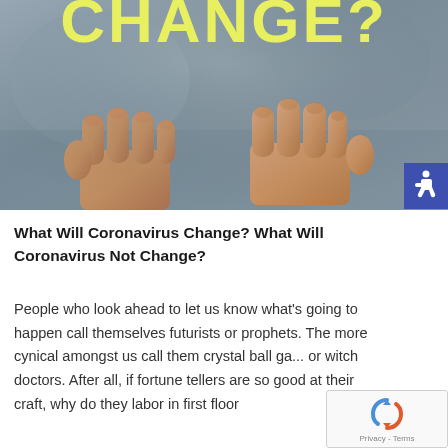[Figure (photo): Two fists doing a fist bump against a blurred background, with the word CHANGE? in bold yellow text overlaid at the top of the image]
What Will Coronavirus Change? What Will Coronavirus Not Change?
People who look ahead to let us know what's going to happen call themselves futurists or prophets. The more cynical amongst us call them crystal ball ga... or witch doctors. After all, if fortune tellers are so good at their craft, why do they labor in first floor